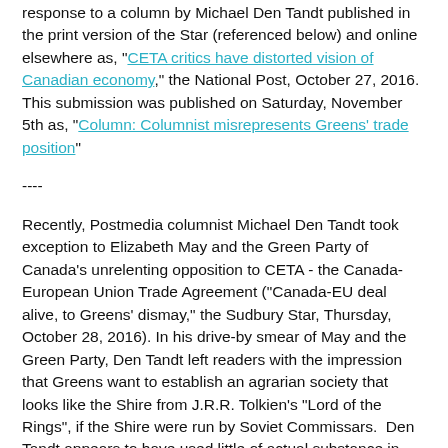response to a column by Michael Den Tandt published in the print version of the Star (referenced below) and online elsewhere as, "CETA critics have distorted vision of Canadian economy," the National Post, October 27, 2016. This submission was published on Saturday, November 5th as, "Column: Columnist misrepresents Greens' trade position"
----
Recently, Postmedia columnist Michael Den Tandt took exception to Elizabeth May and the Green Party of Canada's unrelenting opposition to CETA - the Canada-European Union Trade Agreement ("Canada-EU deal alive, to Greens' dismay," the Sudbury Star, Thursday, October 28, 2016). In his drive-by smear of May and the Green Party, Den Tandt left readers with the impression that Greens want to establish an agrarian society that looks like the Shire from J.R.R. Tolkien's "Lord of the Rings", if the Shire were run by Soviet Commissars. Den Tandt appears to have used little of actual substance in support of this notion, citing only the Green Party's continued opposition to pipelines and trade